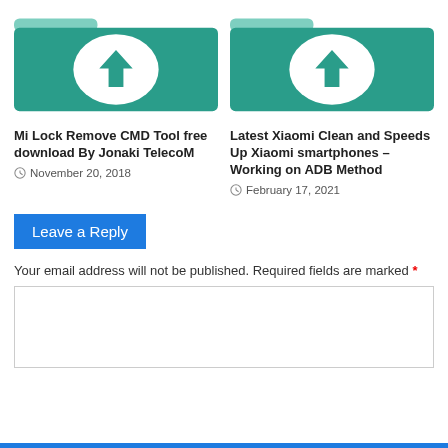[Figure (illustration): Green folder icon with white download arrow circle - left card thumbnail]
[Figure (illustration): Green folder icon with white download arrow circle - right card thumbnail]
Mi Lock Remove CMD Tool free download By Jonaki TelecoM
November 20, 2018
Latest Xiaomi Clean and Speeds Up Xiaomi smartphones – Working on ADB Method
February 17, 2021
Leave a Reply
Your email address will not be published. Required fields are marked *